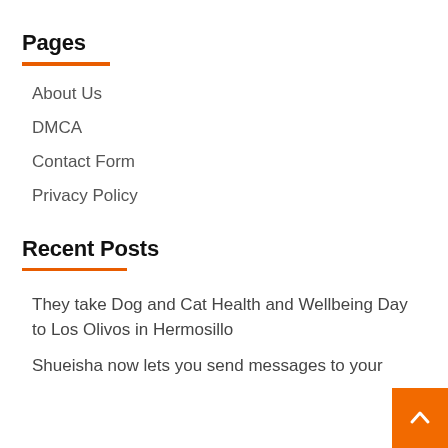Pages
About Us
DMCA
Contact Form
Privacy Policy
Recent Posts
They take Dog and Cat Health and Wellbeing Day to Los Olivos in Hermosillo
Shueisha now lets you send messages to your